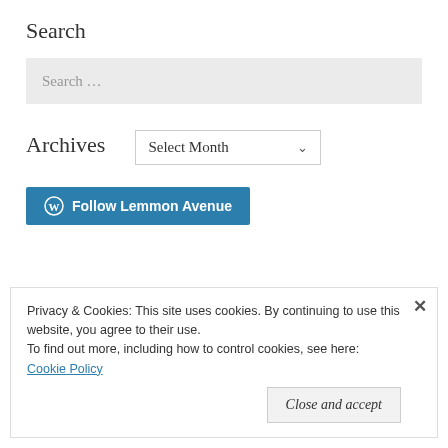Search
[Figure (screenshot): Search input box with placeholder text 'Search ...' on a light grey background]
Archives
[Figure (screenshot): Dropdown select element with 'Select Month' and a chevron arrow]
[Figure (other): WordPress 'Follow Lemmon Avenue' blue button with WordPress logo icon]
Privacy & Cookies: This site uses cookies. By continuing to use this website, you agree to their use. To find out more, including how to control cookies, see here: Cookie Policy
Close and accept